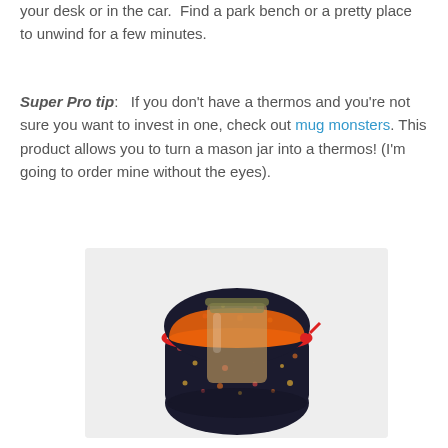your desk or in the car.  Find a park bench or a pretty place to unwind for a few minutes.
Super Pro tip:   If you don't have a thermos and you're not sure you want to invest in one, check out mug monsters. This product allows you to turn a mason jar into a thermos! (I'm going to order mine without the eyes).
[Figure (photo): A mug monster product — a dark fabric pouch with colorful polka dots and a red zipper/trim, open at the top with an orange lining, containing a mason jar.]